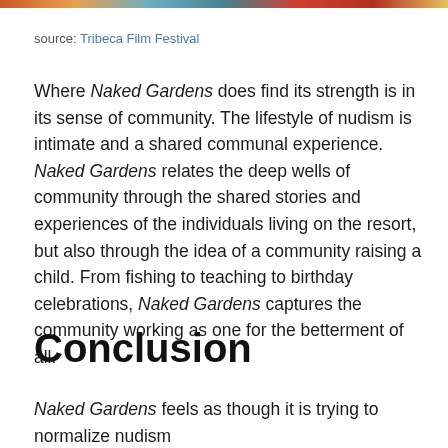[Figure (photo): Partial image strip visible at the very top of the page, colorful blurred image remnant]
source: Tribeca Film Festival
Where Naked Gardens does find its strength is in its sense of community. The lifestyle of nudism is intimate and a shared communal experience. Naked Gardens relates the deep wells of community through the shared stories and experiences of the individuals living on the resort, but also through the idea of a community raising a child. From fishing to teaching to birthday celebrations, Naked Gardens captures the community working as one for the betterment of all.
Conclusion
Naked Gardens feels as though it is trying to normalize nudism